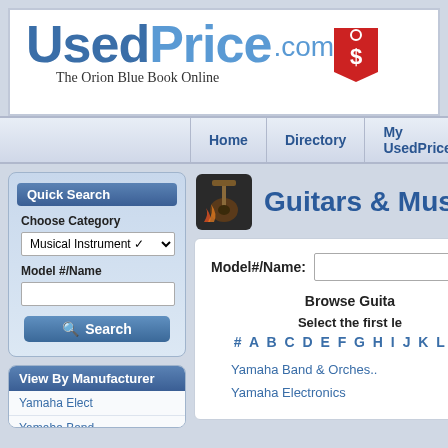[Figure (logo): UsedPrice.com logo with price tag graphic and tagline 'The Orion Blue Book Online']
Home | Directory | My UsedPrice | F.A.Q.s | Board of A
Quick Search
Choose Category
Musical Instrument (dropdown)
Model #/Name
Search button
View By Manufacturer
Yamaha Elect
Yamaha Band
Yorkville
Guitars & Musi
Model#/Name:
Browse Guita
Select the first le
# A B C D E F G H I J K L M
Yamaha Band & Orches...
Yamaha Electronics